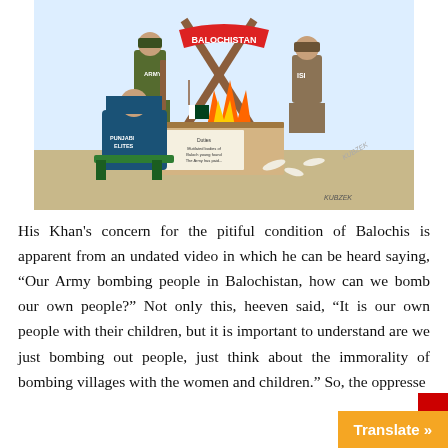[Figure (illustration): Political cartoon depicting figures labeled 'Army', 'Punjabi Elites', and 'ISI' around a fire with a sign reading 'BALOCHISTAN'. A seated figure labeled 'Punjabi Elites' dines while soldiers stand around a burning structure. Bones and a Pakistan flag are visible. Text on a document at the table reads various slogans about Balochistan.]
His Khan's concern for the pitiful condition of Balochis is apparent from an undated video in which he can be heard saying, “Our Army bombing people in Balochistan, how can we bomb our own people?” Not only this, heeven said, “It is our own people with their children, but it is important to understand are we just bombing out people, just think about the immorality of bombing villages with the women and children.” So, the oppresse...